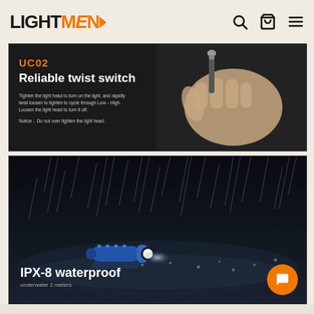LIGHTMEN — navigation header with search, cart, and menu icons
[Figure (photo): Dark banner showing a hand holding a small flashlight (UC02) against black background, with orange UC02 label, white text 'Reliable twist switch', and small body text about tightening/loosening the light head to operate]
UC02
Reliable twist switch
Tighten the light head to turn on the light, and rapidly twist loosen to tighten to cycle through Low→High. Loosen the light head to turn it off.
Notice: Do not over tighten the light head.
[Figure (photo): Dark dramatic photo of a blue small flashlight lying on a wet surface with heavy rain falling around it, glowing brightly. Bottom-left text shows 'IPX-8 waterproof' and 'underwater 2 meters'. Orange chat bubble icon in bottom-right corner.]
IPX-8 waterproof
underwater 2 meters